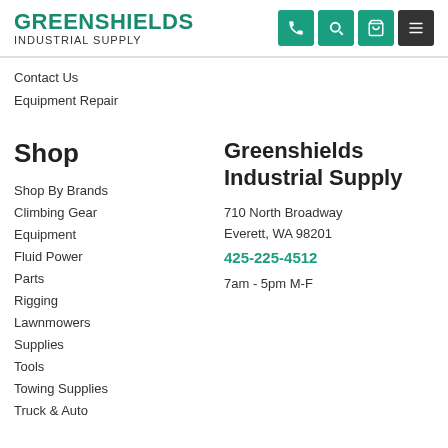GREENSHIELDS INDUSTRIAL SUPPLY
Contact Us
Equipment Repair
Shop
Shop By Brands
Climbing Gear
Equipment
Fluid Power
Parts
Rigging
Lawnmowers
Supplies
Tools
Towing Supplies
Truck & Auto
Greenshields Industrial Supply
710 North Broadway
Everett, WA 98201
425-225-4512
7am - 5pm M-F